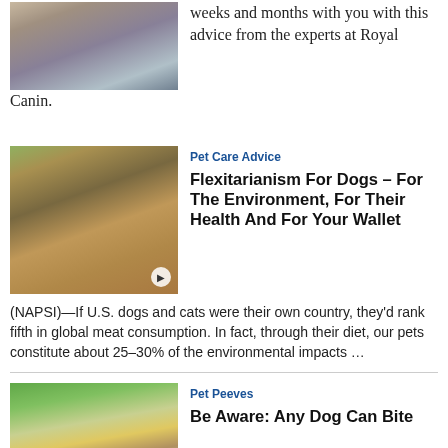[Figure (photo): Partial photo of a cat and stuffed animal, top of page]
weeks and months with you with this advice from the experts at Royal Canin.
[Figure (photo): Woman with a German Shepherd dog and pet food products outdoors]
Pet Care Advice
Flexitarianism For Dogs – For The Environment, For Their Health And For Your Wallet
(NAPSI)—If U.S. dogs and cats were their own country, they'd rank fifth in global meat consumption. In fact, through their diet, our pets constitute about 25–30% of the environmental impacts …
[Figure (photo): Mail carrier in uniform and mask at a residential house]
Pet Peeves
Be Aware: Any Dog Can Bite